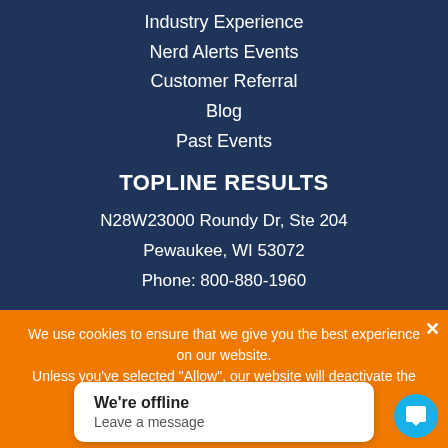Industry Experience
Nerd Alerts Events
Customer Referral
Blog
Past Events
TOPLINE RESULTS
N28W23000 Roundy Dr, Ste 204
Pewaukee, WI 53072
Phone: 800-880-1960
Also offering a Midwest office in: Chicago, IL
We use cookies to ensure that we give you the best experience on our website.
Unless you've selected "Allow", our website will deactivate the cookies.
We're offline
Leave a message